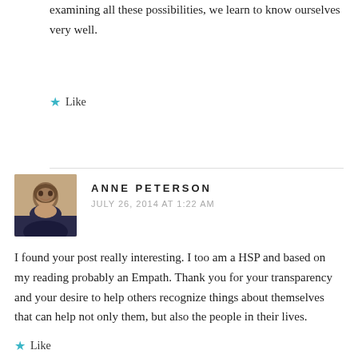examining all these possibilities, we learn to know ourselves very well.
Like
ANNE PETERSON
JULY 26, 2014 AT 1:22 AM
I found your post really interesting. I too am a HSP and based on my reading probably an Empath. Thank you for your transparency and your desire to help others recognize things about themselves that can help not only them, but also the people in their lives.
Like